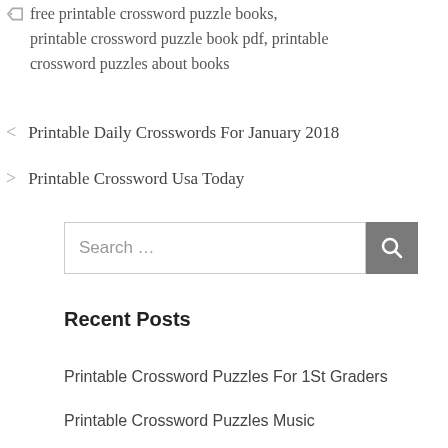free printable crossword puzzle books, printable crossword puzzle book pdf, printable crossword puzzles about books
< Printable Daily Crosswords For January 2018
> Printable Crossword Usa Today
[Figure (other): Search box with text 'Search ...' and a gray search button with magnifying glass icon]
Recent Posts
Printable Crossword Puzzles For 1St Graders
Printable Crossword Puzzles Music